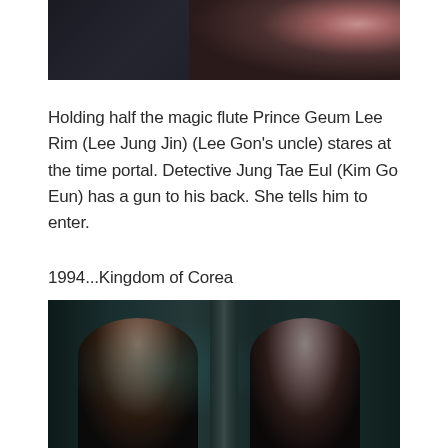[Figure (photo): Cropped photo of a scene from a Korean drama, showing a close-up of a woman's face (lower portion with lips visible) against a dark background.]
Holding half the magic flute Prince Geum Lee Rim (Lee Jung Jin) (Lee Gon's uncle) stares at the time portal. Detective Jung Tae Eul (Kim Go Eun) has a gun to his back. She tells him to enter.
1994...Kingdom of Corea
[Figure (photo): Photo from a Korean drama showing two men facing each other in what appears to a traditional Korean palace setting with teal/dark lighting. A pillar separates them.]